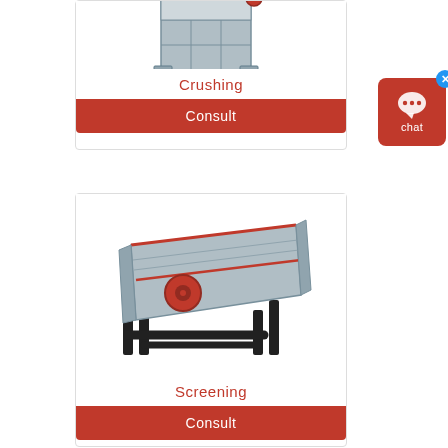[Figure (illustration): Industrial jaw crusher machine illustration - grey metal box-like structure with reinforced panels, partially visible at top of page]
Crushing
Consult
[Figure (illustration): Vibrating screen / screening machine illustration - elongated inclined industrial screener with black metal frame, grey body, red accent lines and circular motor]
Screening
Consult
[Figure (other): Chat widget button - red rounded rectangle with speech bubble icon and 'chat' text, blue X close button]